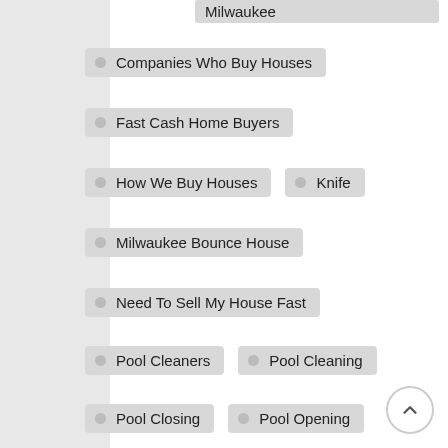Milwaukee
Companies Who Buy Houses
Fast Cash Home Buyers
How We Buy Houses
Knife
Milwaukee Bounce House
Need To Sell My House Fast
Pool Cleaners
Pool Cleaning
Pool Closing
Pool Opening
Pool Operators
Quickest Way To Sell A House
Roofing
Scottish Clans
Sell My Home Fast